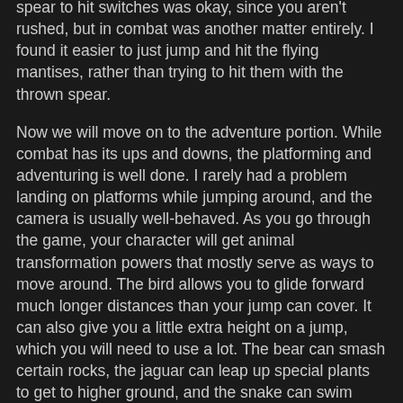spear to hit switches was okay, since you aren't rushed, but in combat was another matter entirely.  I found it easier to just jump and hit the flying mantises, rather than trying to hit them with the thrown spear.
Now we will move on to the adventure portion.  While combat has its ups and downs, the platforming and adventuring is well done.  I rarely had a problem landing on platforms while jumping around, and the camera is usually well-behaved.  As you go through the game, your character will get animal transformation powers that mostly serve as ways to move around.  The bird allows you to glide forward much longer distances than your jump can cover.  It can also give you a little extra height on a jump, which you will need to use a lot.  The bear can smash certain rocks, the jaguar can leap up special plants to get to higher ground, and the snake can swim across the water.
It takes magic to do these things, so you can't do them for as long as you want.  What I really appreciate is how they can be used in conjunction.  There are several times where you use the jaguar to run up a rock, and then must transform into